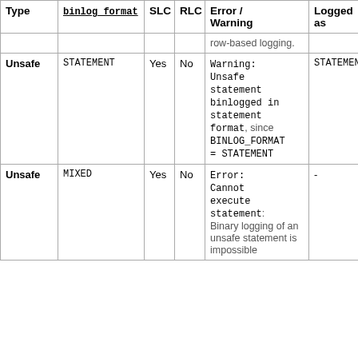| Type | binlog_format | SLC | RLC | Error / Warning | Logged as |
| --- | --- | --- | --- | --- | --- |
|  |  |  |  | row-based logging. |  |
| Unsafe | STATEMENT | Yes | No | Warning: Unsafe statement binlogged in statement format, since BINLOG_FORMAT = STATEMENT | STATEMENT |
| Unsafe | MIXED | Yes | No | Error: Cannot execute statement: Binary logging of an unsafe statement is impossible | - |